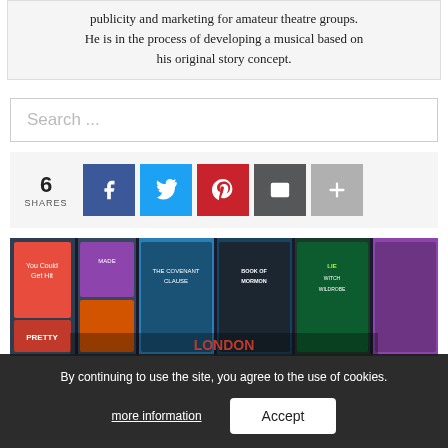publicity and marketing for amateur theatre groups. He is in the process of developing a musical based on his original story concept.
[Figure (screenshot): Search input box with placeholder text 'Search ...']
[Figure (infographic): Social share bar showing 6 SHARES with buttons for Facebook, Twitter, Pinterest, Email, and More (+)]
[Figure (photo): Collage of theatre/musical show posters including Book of Mormon, Wicked, and London theatre imagery]
By continuing to use the site, you agree to the use of cookies.
more information
Accept